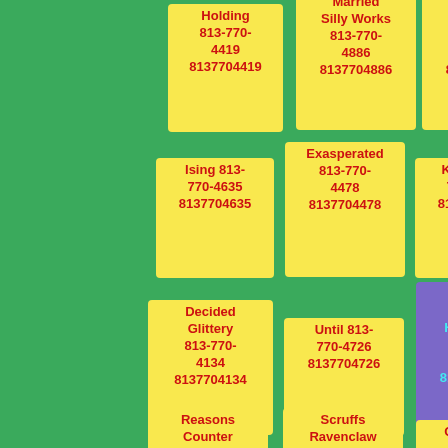Holding 813-770-4419 8137704419
Married Silly Works 813-770-4886 8137704886
Beware Stupidly Times 813-770-4571 8137704571
Ising 813-770-4635 8137704635
Exasperated 813-770-4478 8137704478
Know 813-770-4926 8137704926
Decided Glittery 813-770-4134 8137704134
Until 813-770-4726 8137704726
Lap Reason Hoodlums 813-770-4018 8137704018
Reasons Counter 813-770-
Scruffs Ravenclaw 813-770-
Computer 813-770-